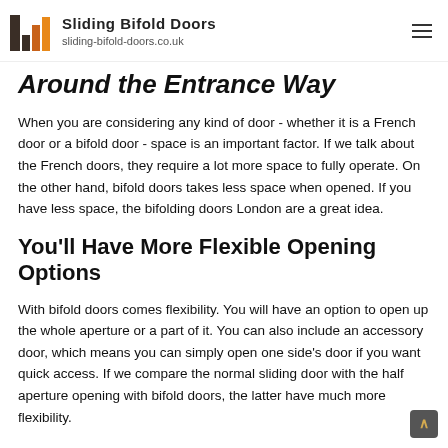Sliding Bifold Doors sliding-bifold-doors.co.uk
Around the Entrance Way
When you are considering any kind of door - whether it is a French door or a bifold door - space is an important factor. If we talk about the French doors, they require a lot more space to fully operate. On the other hand, bifold doors takes less space when opened. If you have less space, the bifolding doors London are a great idea.
You'll Have More Flexible Opening Options
With bifold doors comes flexibility. You will have an option to open up the whole aperture or a part of it. You can also include an accessory door, which means you can simply open one side's door if you want quick access. If we compare the normal sliding door with the half aperture opening with bifold doors, the latter have much more flexibility.